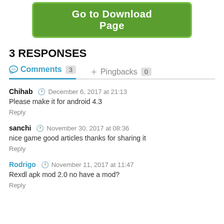[Figure (other): Green button labeled 'Go to Download Page']
3 RESPONSES
Comments 3   Pingbacks 0
Chihab   December 6, 2017 at 21:13
Please make it for android 4.3
Reply
sanchi   November 30, 2017 at 08:36
nice game good articles thanks for sharing it
Reply
Rodrigo   November 11, 2017 at 11:47
Rexdl apk mod 2.0 no have a mod?
Reply